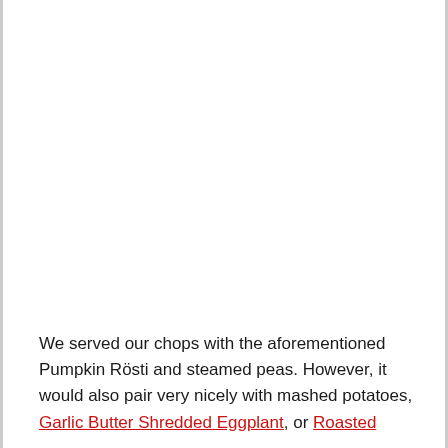We served our chops with the aforementioned Pumpkin Rösti and steamed peas. However, it would also pair very nicely with mashed potatoes, Garlic Butter Shredded Eggplant, or Roasted